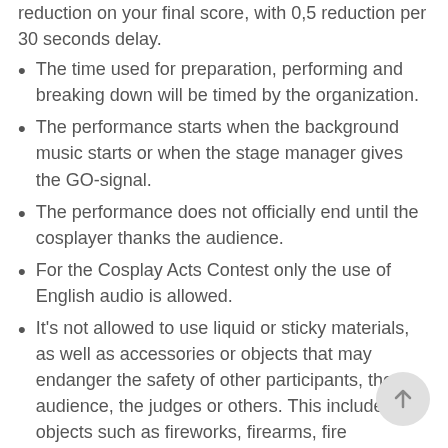reduction on your final score, with 0,5 reduction per 30 seconds delay.
The time used for preparation, performing and breaking down will be timed by the organization.
The performance starts when the background music starts or when the stage manager gives the GO-signal.
The performance does not officially end until the cosplayer thanks the audience.
For the Cosplay Acts Contest only the use of English audio is allowed.
It's not allowed to use liquid or sticky materials, as well as accessories or objects that may endanger the safety of other participants, the audience, the judges or others. This includes objects such as fireworks, firearms, fire extinguishers, sharp